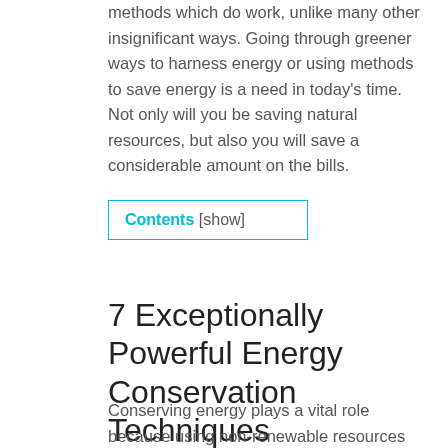methods which do work, unlike many other insignificant ways. Going through greener ways to harness energy or using methods to save energy is a need in today's time. Not only will you be saving natural resources, but also you will save a considerable amount on the bills.
Contents [show]
7 Exceptionally Powerful Energy Conservation Techniques
Conserving energy plays a vital role because using non-renewable resources affects the environment too. There are many ways through which one can